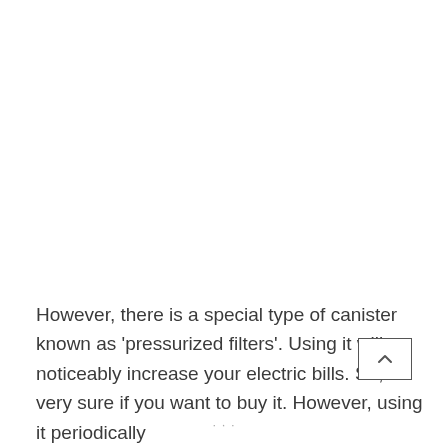However, there is a special type of canister known as 'pressurized filters'. Using it will noticeably increase your electric bills. So, be very sure if you want to buy it. However, using it periodically